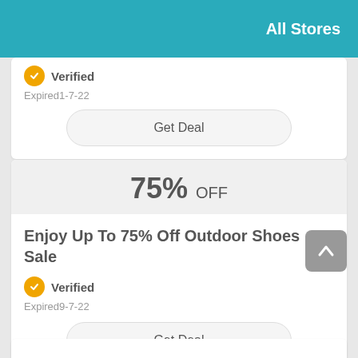All Stores
Verified
Expired1-7-22
Get Deal
75% OFF
Enjoy Up To 75% Off Outdoor Shoes Sale
Verified
Expired9-7-22
Get Deal